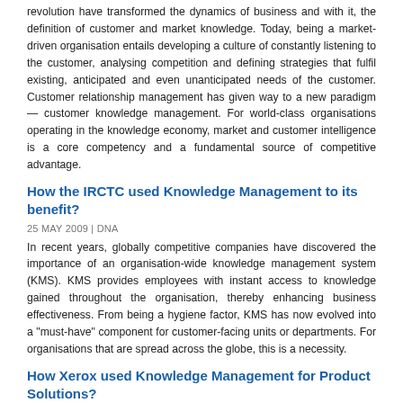revolution have transformed the dynamics of business and with it, the definition of customer and market knowledge. Today, being a market-driven organisation entails developing a culture of constantly listening to the customer, analysing competition and defining strategies that fulfil existing, anticipated and even unanticipated needs of the customer. Customer relationship management has given way to a new paradigm — customer knowledge management. For world-class organisations operating in the knowledge economy, market and customer intelligence is a core competency and a fundamental source of competitive advantage.
How the IRCTC used Knowledge Management to its benefit?
25 MAY 2009 | DNA
In recent years, globally competitive companies have discovered the importance of an organisation-wide knowledge management system (KMS). KMS provides employees with instant access to knowledge gained throughout the organisation, thereby enhancing business effectiveness. From being a hygiene factor, KMS has now evolved into a "must-have" component for customer-facing units or departments. For organisations that are spread across the globe, this is a necessity.
How Xerox used Knowledge Management for Product Solutions?